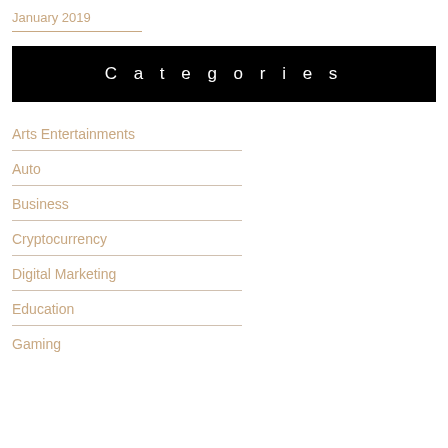January 2019
Categories
Arts Entertainments
Auto
Business
Cryptocurrency
Digital Marketing
Education
Gaming